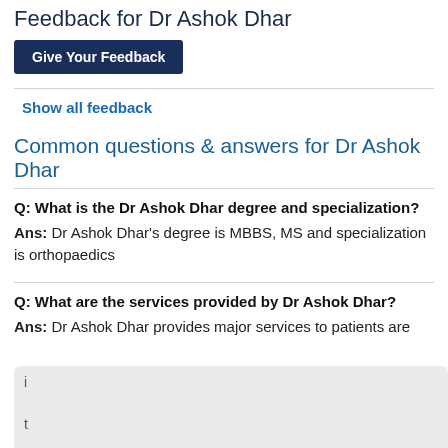Feedback for Dr Ashok Dhar
Give Your Feedback
Show all feedback
Common questions & answers for Dr Ashok Dhar
Q: What is the Dr Ashok Dhar degree and specialization?
Ans: Dr Ashok Dhar's degree is MBBS, MS and specialization is orthopaedics
Q: What are the services provided by Dr Ashok Dhar?
Ans: Dr Ashok Dhar provides major services to patients are